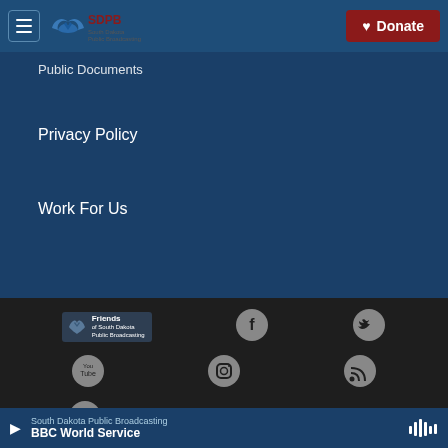SDPB South Dakota Public Broadcasting | Donate
Public Documents
Privacy Policy
Work For Us
[Figure (logo): Friends of South Dakota Public Broadcasting logo]
[Figure (logo): Facebook icon circle]
[Figure (logo): Twitter icon circle]
[Figure (logo): YouTube icon circle]
[Figure (logo): Instagram icon circle]
[Figure (logo): RSS icon circle]
[Figure (logo): Flickr icon circle]
[Figure (logo): NPR logo]
South Dakota Public Broadcasting  BBC World Service